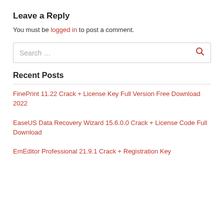Leave a Reply
You must be logged in to post a comment.
Search ...
Recent Posts
FinePrint 11.22 Crack + License Key Full Version Free Download 2022
EaseUS Data Recovery Wizard 15.6.0.0 Crack + License Code Full Download
EmEditor Professional 21.9.1 Crack + Registration Key